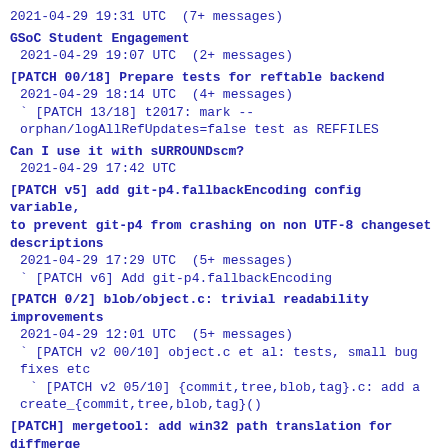2021-04-29 19:31 UTC  (7+ messages)
GSoC Student Engagement
 2021-04-29 19:07 UTC  (2+ messages)
[PATCH 00/18] Prepare tests for reftable backend
 2021-04-29 18:14 UTC  (4+ messages)
 ` [PATCH 13/18] t2017: mark --
orphan/logAllRefUpdates=false test as REFFILES
Can I use it with sURROUNDscm?
 2021-04-29 17:42 UTC
[PATCH v5] add git-p4.fallbackEncoding config variable,
to prevent git-p4 from crashing on non UTF-8 changeset
descriptions
 2021-04-29 17:29 UTC  (5+ messages)
 ` [PATCH v6] Add git-p4.fallbackEncoding
[PATCH 0/2] blob/object.c: trivial readability
improvements
 2021-04-29 12:01 UTC  (5+ messages)
 ` [PATCH v2 00/10] object.c et al: tests, small bug
fixes etc
   ` [PATCH v2 05/10] {commit,tree,blob,tag}.c: add a
create_{commit,tree,blob,tag}()
[PATCH] mergetool: add win32 path translation for
diffmerge
 2021-04-29 11:39 UTC